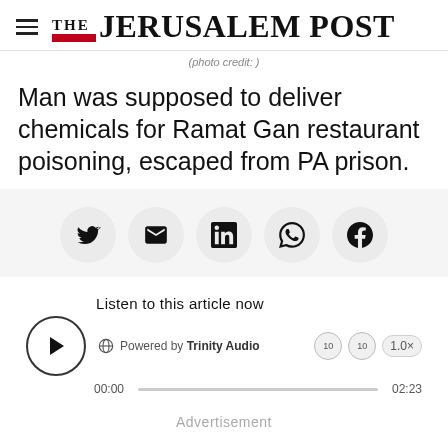THE JERUSALEM POST
(photo credit: )
Man was supposed to deliver chemicals for Ramat Gan restaurant poisoning, escaped from PA prison.
[Figure (infographic): Social share buttons: Twitter, Email, LinkedIn, WhatsApp, Facebook]
[Figure (infographic): Audio player: Listen to this article now, Powered by Trinity Audio, 00:00 - 02:23, 1.0x speed]
Advertisement